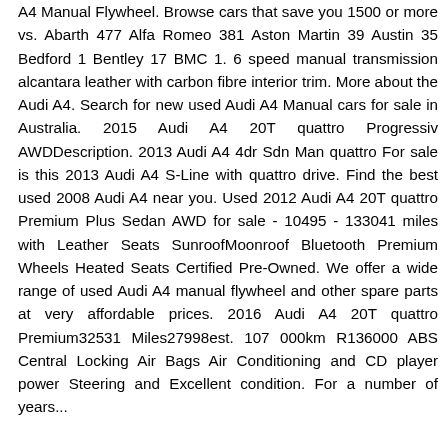A4 Manual Flywheel. Browse cars that save you 1500 or more vs. Abarth 477 Alfa Romeo 381 Aston Martin 39 Austin 35 Bedford 1 Bentley 17 BMC 1. 6 speed manual transmission alcantara leather with carbon fibre interior trim. More about the Audi A4. Search for new used Audi A4 Manual cars for sale in Australia. 2015 Audi A4 20T quattro Progressiv AWDDescription. 2013 Audi A4 4dr Sdn Man quattro For sale is this 2013 Audi A4 S-Line with quattro drive. Find the best used 2008 Audi A4 near you. Used 2012 Audi A4 20T quattro Premium Plus Sedan AWD for sale - 10495 - 133041 miles with Leather Seats SunroofMoonroof Bluetooth Premium Wheels Heated Seats Certified Pre-Owned. We offer a wide range of used Audi A4 manual flywheel and other spare parts at very affordable prices. 2016 Audi A4 20T quattro Premium32531 Miles27998est. 107 000km R136000 ABS Central Locking Air Bags Air Conditioning and CD player power Steering and Excellent condition. For a number of years...